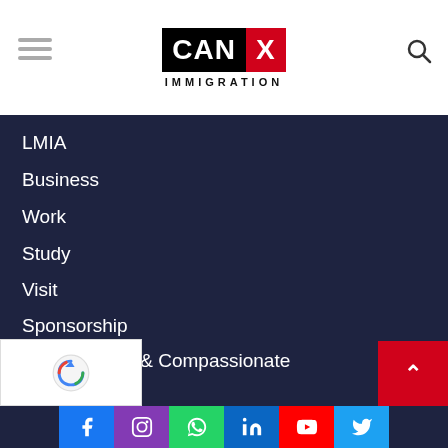[Figure (logo): CANX Immigration logo with CAN in black background and X in red background, with IMMIGRATION text below]
LMIA
Business
Work
Study
Visit
Sponsorship
Humanitarian & Compassionate
Citizenship
PR Card
…otes
[Figure (infographic): Social media buttons: Facebook, Instagram, WhatsApp, LinkedIn, YouTube, Twitter]